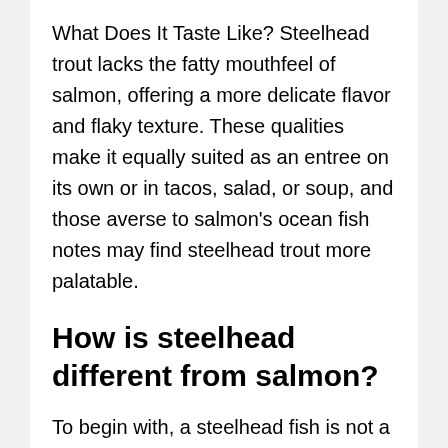What Does It Taste Like? Steelhead trout lacks the fatty mouthfeel of salmon, offering a more delicate flavor and flaky texture. These qualities make it equally suited as an entree on its own or in tacos, salad, or soup, and those averse to salmon's ocean fish notes may find steelhead trout more palatable.
How is steelhead different from salmon?
To begin with, a steelhead fish is not a salmon. A steelhead is a type of trout, a completely different fish type but from the same fish family with salmons. A steelhead starts its life as a rainbow trout, but a salmon is always a salmon from day one to its mature life.